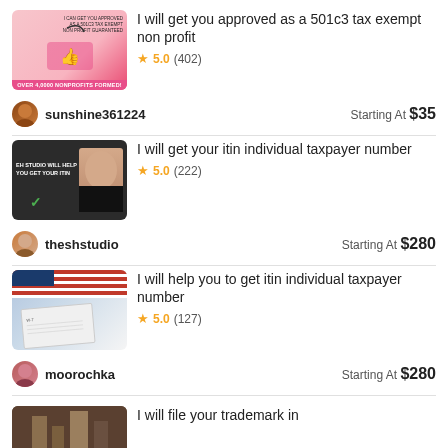[Figure (screenshot): Thumbnail image for 501c3 non-profit listing with pink background and text overlay]
I will get you approved as a 501c3 tax exempt non profit
★ 5.0 (402)
sunshine361224   Starting At $35
[Figure (screenshot): Dark thumbnail with text: EH STUDIO WILL HELP YOU GET YOUR ITIN and a green checkmark, woman's portrait on right]
I will get your itin individual taxpayer number
★ 5.0 (222)
theshstudio   Starting At $280
[Figure (photo): Photo of US flag, documents and glasses for ITIN listing]
I will help you to get itin individual taxpayer number
★ 5.0 (127)
moorochka   Starting At $280
[Figure (photo): Partial thumbnail for trademark listing]
I will file your trademark in